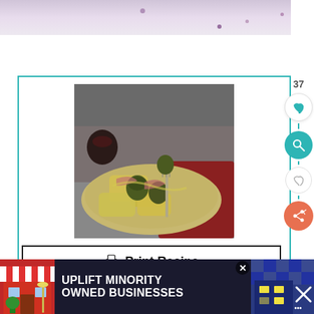[Figure (photo): Top strip showing a light purple/pink background with scattered dark dots, partial view of a food photo]
[Figure (photo): Recipe card with a photo of pasta/ravioli dish with figs and prosciutto on a decorative plate, held by a fork, with a fig and gray cloth in background]
🖨 Print Recipe
Pin it for later!
37
[Figure (infographic): Advertisement banner: UPLIFT MINORITY OWNED BUSINESSES with storefront graphics on dark background]